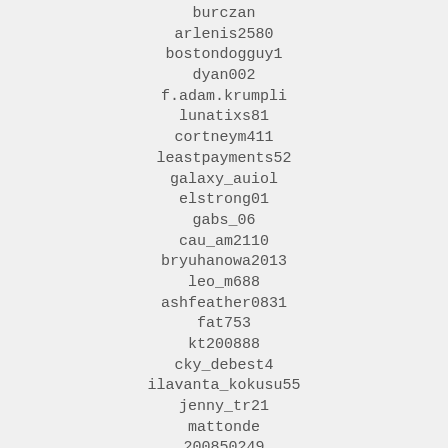burczan
arlenis2580
bostondogguy1
dyan002
f.adam.krumpli
lunatixs81
cortneym411
leastpayments52
galaxy_auiol
elstrong01
gabs_06
cau_am2110
bryuhanowa2013
leo_m688
ashfeather0831
fat753
kt200888
cky_debest4
ilavanta_kokusu55
jenny_tr21
mattonde
200850249
m.ariiiion
dark.javo